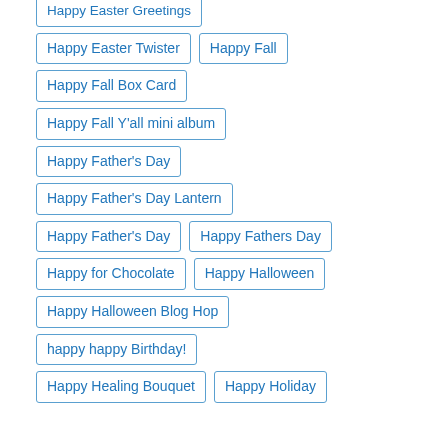Happy Easter Greetings
Happy Easter Twister
Happy Fall
Happy Fall Box Card
Happy Fall Y'all mini album
Happy Father's Day
Happy Father's Day Lantern
Happy Father's Day
Happy Fathers Day
Happy for Chocolate
Happy Halloween
Happy Halloween Blog Hop
happy happy Birthday!
Happy Healing Bouquet
Happy Holiday